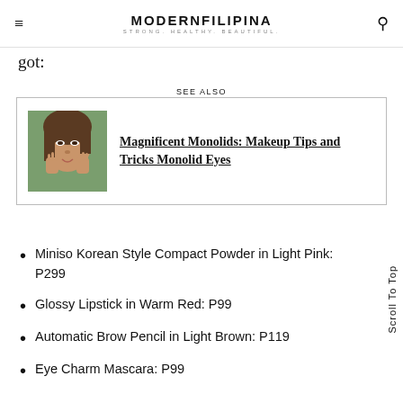MODERNFILIPINA — STRONG. HEALTHY. BEAUTIFUL.
got:
SEE ALSO
[Figure (photo): Photo of a woman with monolid eyes posing with hands near her face]
Magnificent Monolids: Makeup Tips and Tricks Monolid Eyes
Miniso Korean Style Compact Powder in Light Pink: P299
Glossy Lipstick in Warm Red: P99
Automatic Brow Pencil in Light Brown: P119
Eye Charm Mascara: P99